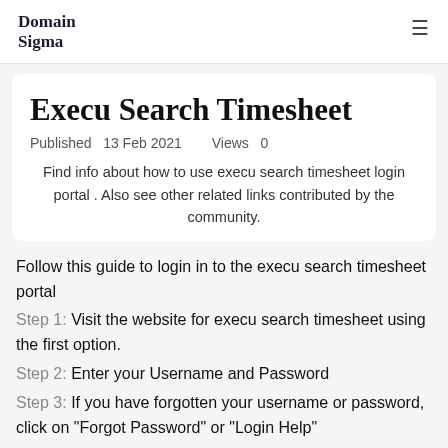Domain Sigma
Execu Search Timesheet
Published  13 Feb 2021    Views  0
Find info about how to use execu search timesheet login portal . Also see other related links contributed by the community.
Follow this guide to login in to the execu search timesheet portal
Step 1: Visit the website for execu search timesheet using the first option.
Step 2: Enter your Username and Password
Step 3: If you have forgotten your username or password, click on "Forgot Password" or "Login Help"